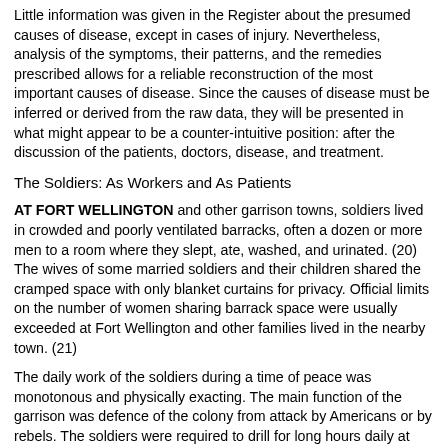Little information was given in the Register about the presumed causes of disease, except in cases of injury. Nevertheless, analysis of the symptoms, their patterns, and the remedies prescribed allows for a reliable reconstruction of the most important causes of disease. Since the causes of disease must be inferred or derived from the raw data, they will be presented in what might appear to be a counter-intuitive position: after the discussion of the patients, doctors, disease, and treatment.
The Soldiers: As Workers and As Patients
AT FORT WELLINGTON and other garrison towns, soldiers lived in crowded and poorly ventilated barracks, often a dozen or more men to a room where they slept, ate, washed, and urinated. (20) The wives of some married soldiers and their children shared the cramped space with only blanket curtains for privacy. Official limits on the number of women sharing barrack space were usually exceeded at Fort Wellington and other families lived in the nearby town. (21)
The daily work of the soldiers during a time of peace was monotonous and physically exacting. The main function of the garrison was defence of the colony from attack by Americans or by rebels. The soldiers were required to drill for long hours daily at regular and special parades, sham fights, and artillery salutes; each man served shifts of guard duty during which his vigilance could be taxed by prolonged inaction, silence, darkness, and cold. The men worked in the kitchens and the garden, and were required to make repairs to the buildings and their uniforms. The garrison could serve a police function by actively maintaining stability in the colony, but more often it did so passively by its presence; soldiers could also work as firefighters. (22) Occasionally military men were sent to work on construction projects and road maintenance, but during the period of this